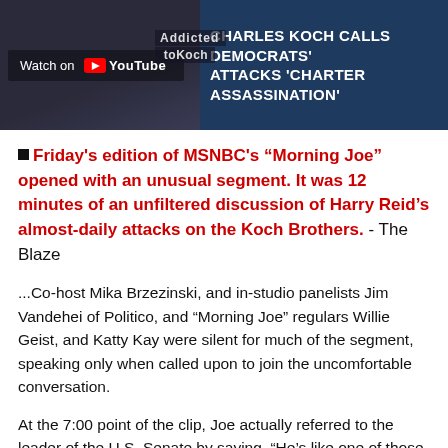[Figure (screenshot): YouTube video thumbnail showing a news segment. Left side shows dark background with 'Watch on YouTube' overlay and 'Addicted toKoch' text. Right side shows blue news banner with text 'CHARLES KOCH CALLS DEMOCRATS' ATTACKS CHARTER ASSASSINATION'.]
■ Friday's edition of MSNBC's “Morning Joe” opened with an unusual segment. It was 12 minutes of an unfiltered discussion of Harry Reid’s almost-daily attacks on the Koch Brothers. - The Blaze
...Co-host Mika Brzezinski, and in-studio panelists Jim Vandehei of Politico, and “Morning Joe” regulars Willie Geist, and Katty Kay were silent for much of the segment, speaking only when called upon to join the uncomfortable conversation.
At the 7:00 point of the clip, Joe actually referred to the leader of the U.S. Senate by saying, “He’s like one of those cheap, dirty, political consultants you stay away from because they would embarrass you.”